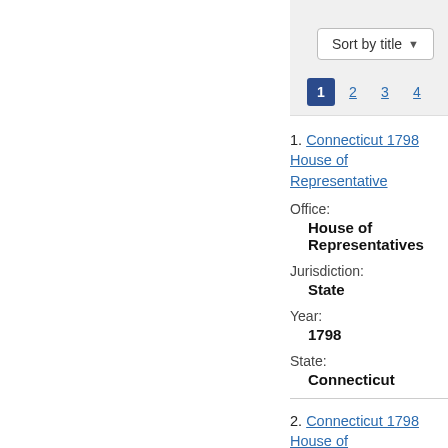Sort by title ▾
1 2 3 4
1. Connecticut 1798 House of Representative
Office:
House of Representatives
Jurisdiction:
State
Year:
1798
State:
Connecticut
2. Connecticut 1798 House of Representative, Ballot 2
Office:
House of Representatives